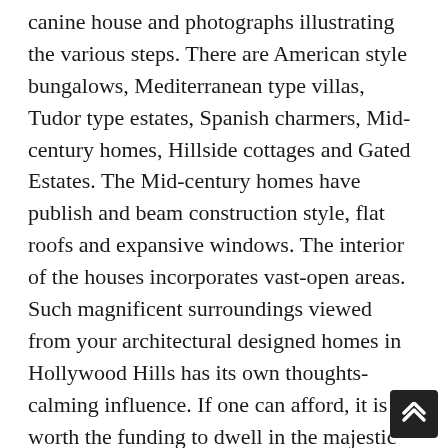canine house and photographs illustrating the various steps. There are American style bungalows, Mediterranean type villas, Tudor type estates, Spanish charmers, Mid-century homes, Hillside cottages and Gated Estates. The Mid-century homes have publish and beam construction style, flat roofs and expansive windows. The interior of the houses incorporates vast-open areas. Such magnificent surroundings viewed from your architectural designed homes in Hollywood Hills has its own thoughts-calming influence. If one can afford, it is worth the funding to dwell in the majestic Hollywood Hills. The landscape round Hollywood hills is breathtaking with Pacific Ocean view on one side and valley on one other side. American bungalow type constructions have features like one and half stories, central dwelling room, low pitched horizontal roof, fitted shelves and cabinets. Owner builders need choices, however, and if you're in search of velocity at a